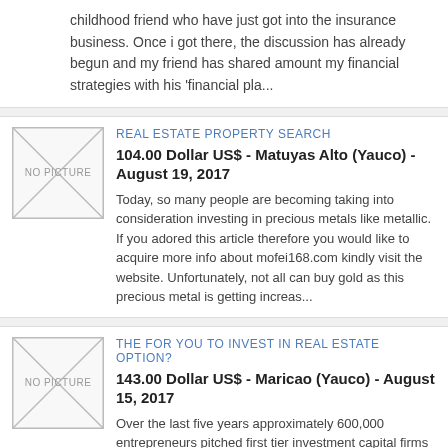childhood friend who have just got into the insurance business. Once i got there, the discussion has already begun and my friend has shared amount my financial strategies with his 'financial pla...
REAL ESTATE PROPERTY SEARCH
[Figure (other): No picture placeholder image with diagonal cross lines]
104.00 Dollar US$ - Matuyas Alto (Yauco) - August 19, 2017
Today, so many people are becoming taking into consideration investing in precious metals like metallic. If you adored this article therefore you would like to acquire more info about mofei168.com kindly visit the website. Unfortunately, not all can buy gold as this precious metal is getting increas...
THE FOR YOU TO INVEST IN REAL ESTATE OPTION?
[Figure (other): No picture placeholder image with diagonal cross lines]
143.00 Dollar US$ - Maricao (Yauco) - August 15, 2017
Over the last five years approximately 600,000 entrepreneurs pitched first tier investment capital firms in The united states and about 15,000 received funding. Your odds of getting funded are 2.5%. This can be a fact. Many of people who were funded became quite wealthy and so on failed. If you love...